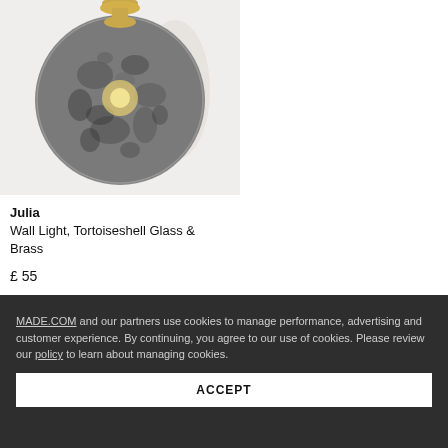[Figure (photo): Product photo of Julia Wall Light with tortoiseshell glass globe shade and brass fitting, shown against light grey background.]
Julia
Wall Light, Tortoiseshell Glass & Brass
£ 55
MADE.COM and our partners use cookies to manage performance, advertising and customer experience. By continuing, you agree to our use of cookies. Please review our policy to learn about managing cookies.
ACCEPT